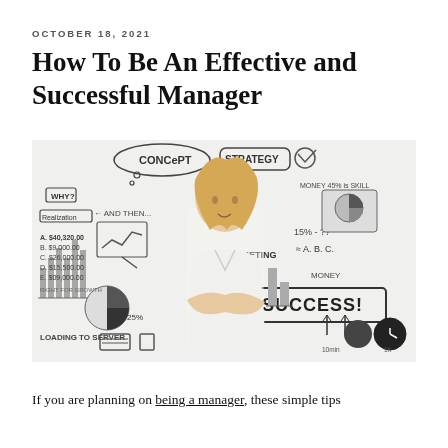OCTOBER 18, 2021
How To Be An Effective and Successful Manager
[Figure (photo): A woman in a white blouse standing with arms crossed in front of a whiteboard covered with business strategy diagrams, charts, pie charts, text including 'CONCEPT', 'STRATEGY', 'MARKETING', 'SUCCESS!', 'LOADING TO SERVER', and various data figures.]
If you are planning on being a manager, these simple tips